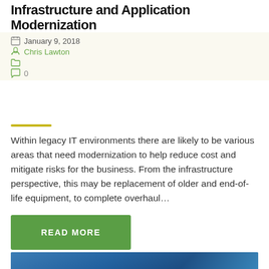Infrastructure and Application Modernization
January 9, 2018
Chris Lawton
0
Within legacy IT environments there are likely to be various areas that need modernization to help reduce cost and mitigate risks for the business. From the infrastructure perspective, this may be replacement of older and end-of-life equipment, to complete overhaul...
READ MORE
[Figure (photo): Blue-toned technology/infrastructure image at the bottom of the page, partially visible]